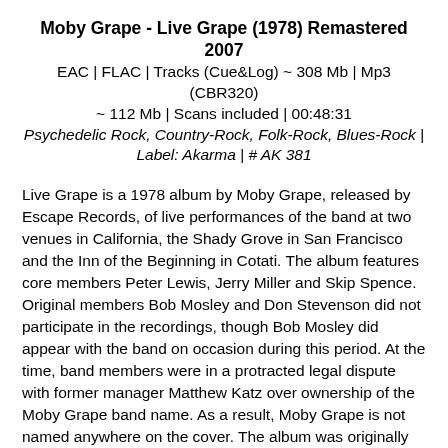Moby Grape - Live Grape (1978) Remastered 2007
EAC | FLAC | Tracks (Cue&Log) ~ 308 Mb | Mp3 (CBR320) ~ 112 Mb | Scans included | 00:48:31
Psychedelic Rock, Country-Rock, Folk-Rock, Blues-Rock | Label: Akarma | # AK 381
Live Grape is a 1978 album by Moby Grape, released by Escape Records, of live performances of the band at two venues in California, the Shady Grove in San Francisco and the Inn of the Beginning in Cotati. The album features core members Peter Lewis, Jerry Miller and Skip Spence. Original members Bob Mosley and Don Stevenson did not participate in the recordings, though Bob Mosley did appear with the band on occasion during this period. At the time, band members were in a protracted legal dispute with former manager Matthew Katz over ownership of the Moby Grape band name. As a result, Moby Grape is not named anywhere on the cover. The album was originally released by Escape Records in 1978. It was reissued on CD by Line Records in 1994 and